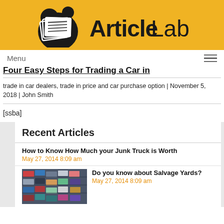[Figure (logo): Article Lab logo with stacked pages icon and text 'Article Lab' on gold/yellow background]
Menu
Four Easy Steps for Trading a Car in
trade in car dealers, trade in price and car purchase option | November 5, 2018 | John Smith
[ssba]
Recent Articles
How to Know How Much your Junk Truck is Worth
May 27, 2014 8:09 am
Do you know about Salvage Yards?
May 27, 2014 8:09 am
[Figure (photo): Thumbnail photo of cars in a salvage yard/parking lot from above]